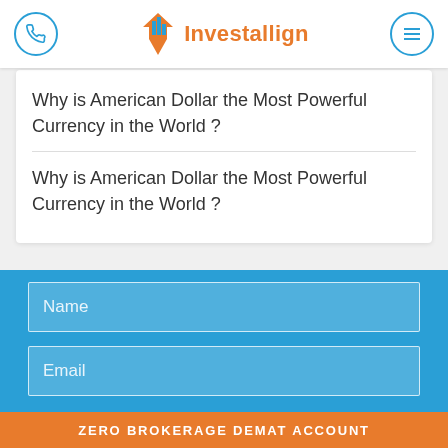Investallign
Why is American Dollar the Most Powerful Currency in the World ?
Why is American Dollar the Most Powerful Currency in the World ?
[Figure (screenshot): Blue contact form section with Name and Email input fields on a blue background]
ZERO BROKERAGE DEMAT ACCOUNT